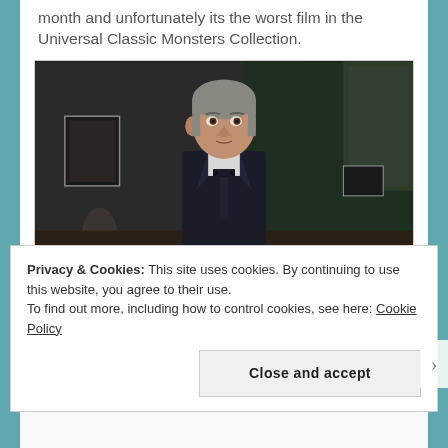month and unfortunately its the worst film in the Universal Classic Monsters Collection.
[Figure (photo): A man in a dark suit with a bow tie, gray-haired, looking to the side in a room with dark green walls and a doorway visible in the background. Colorized film still.]
Privacy & Cookies: This site uses cookies. By continuing to use this website, you agree to their use.
To find out more, including how to control cookies, see here: Cookie Policy
Close and accept